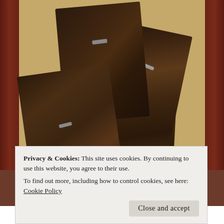[Figure (photo): Several dark wood boards with metal sawtooth hangers attached to their backs, arranged overlapping on a beige/tan patterned rug with blue/grey floral design.]
Privacy & Cookies: This site uses cookies. By continuing to use this website, you agree to their use.
To find out more, including how to control cookies, see here: Cookie Policy
I added the hangers to the upper part of the board backs.